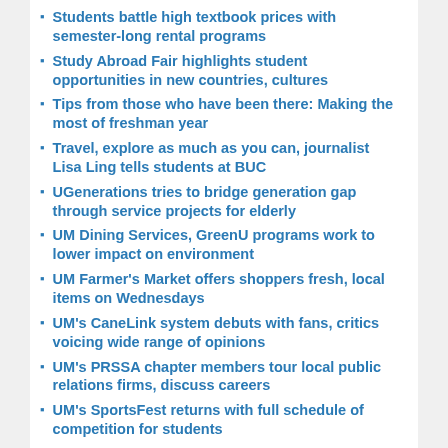Students battle high textbook prices with semester-long rental programs
Study Abroad Fair highlights student opportunities in new countries, cultures
Tips from those who have been there: Making the most of freshman year
Travel, explore as much as you can, journalist Lisa Ling tells students at BUC
UGenerations tries to bridge generation gap through service projects for elderly
UM Dining Services, GreenU programs work to lower impact on environment
UM Farmer's Market offers shoppers fresh, local items on Wednesdays
UM's CaneLink system debuts with fans, critics voicing wide range of opinions
UM's PRSSA chapter members tour local public relations firms, discuss careers
UM's SportsFest returns with full schedule of competition for students
University's international character grows to 14% of